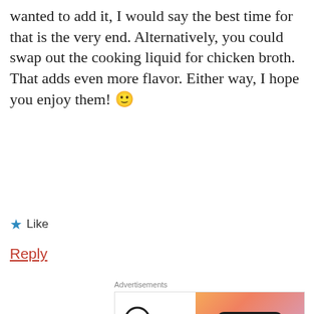wanted to add it, I would say the best time for that is the very end. Alternatively, you could swap out the cooking liquid for chicken broth. That adds even more flavor. Either way, I hope you enjoy them! 🙂
★ Like
Reply
Advertisements
[Figure (other): WordPress VIP advertisement banner with orange/pink gradient background and 'Learn more →' button]
REPORT THIS AD
[Figure (other): Author avatar circular icon]
Marla Paul
Advertisements
[Figure (other): Macy's lip product advertisement with red background, 'KISS BORING LIPS GOODBYE', SHOP NOW button and Macy's star logo]
REPORT THIS AD